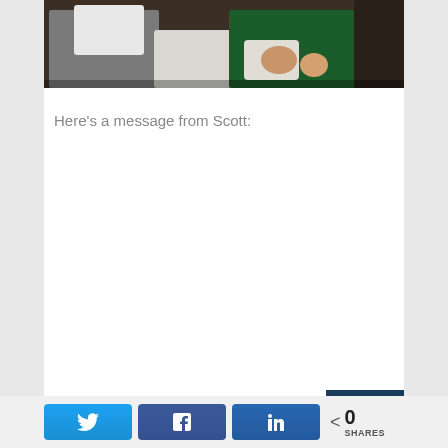[Figure (photo): Partial photo showing people sitting, one wearing gray pants and white shirt, another in green top, visible on a dark sofa/couch background. Only lower portions of bodies visible.]
Here's a message from Scott:
[Figure (infographic): Social sharing bar with Twitter, Facebook, LinkedIn buttons and share count of 0 SHARES]